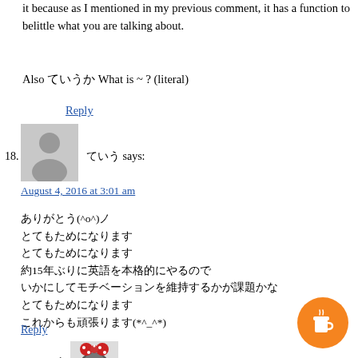it because as I mentioned in my previous comment, it has a function to belittle what you are talking about.
Also ていうか What is ~ ? (literal)
Reply
18. ていう says: August 4, 2016 at 3:01 am
ありがとう(^o^)ノ
とてもためになります
とてもためになります
約15年ぶりに英語を本格的にやるので
いかにしてモチベーションを維持するかが課題かな
とてもためになります
これからも頑張ります(*^_^*)
Reply
1. Maggie says: August 4, 2016 at 9:47 am